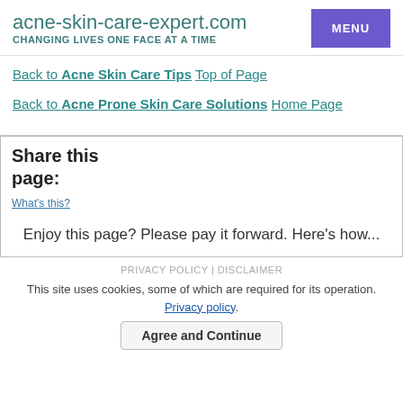acne-skin-care-expert.com CHANGING LIVES ONE FACE AT A TIME
Back to Acne Skin Care Tips Top of Page
Back to Acne Prone Skin Care Solutions Home Page
Share this page:
What's this?
Enjoy this page? Please pay it forward. Here's how...
PRIVACY POLICY | DISCLAIMER
This site uses cookies, some of which are required for its operation. Privacy policy.
Agree and Continue